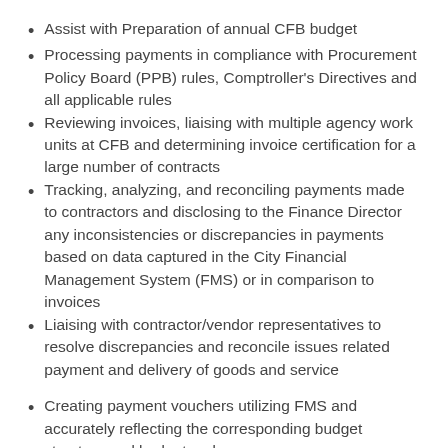Assist with Preparation of annual CFB budget
Processing payments in compliance with Procurement Policy Board (PPB) rules, Comptroller's Directives and all applicable rules
Reviewing invoices, liaising with multiple agency work units at CFB and determining invoice certification for a large number of contracts
Tracking, analyzing, and reconciling payments made to contractors and disclosing to the Finance Director any inconsistencies or discrepancies in payments based on data captured in the City Financial Management System (FMS) or in comparison to invoices
Liaising with contractor/vendor representatives to resolve discrepancies and reconcile issues related payment and delivery of goods and service
Creating payment vouchers utilizing FMS and accurately reflecting the corresponding budget structure and budget codes
Reviewing FMS payment vouchers submitted by other Payment Specialists and applying subsequent FMS